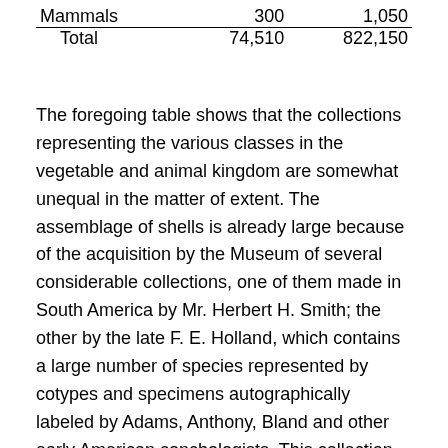|  | Species | Specimens |
| --- | --- | --- |
| Mammals | 300 | 1,050 |
| Total | 74,510 | 822,150 |
The foregoing table shows that the collections representing the various classes in the vegetable and animal kingdom are somewhat unequal in the matter of extent. The assemblage of shells is already large because of the acquisition by the Museum of several considerable collections, one of them made in South America by Mr. Herbert H. Smith; the other by the late F. E. Holland, which contains a large number of species represented by cotypes and specimens autographically labeled by Adams, Anthony, Bland and other early American conchologists. This collection at the time of its acquisition by the Carnegie Museum contained over six thousand species and is especially rich in West Indian terrestrial mollusca. The collection of Lepidoptera is also exceedingly rich in species, as well as specimens, containing as it does, the